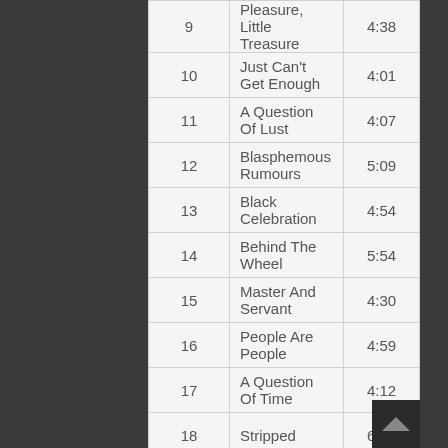| # | Title | Duration |
| --- | --- | --- |
| 9 | Pleasure, Little Treasure | 4:38 |
| 10 | Just Can't Get Enough | 4:01 |
| 11 | A Question Of Lust | 4:07 |
| 12 | Blasphemous Rumours | 5:09 |
| 13 | Black Celebration | 4:54 |
| 14 | Behind The Wheel | 5:54 |
| 15 | Master And Servant | 4:30 |
| 16 | People Are People | 4:59 |
| 17 | A Question Of Time | 4:12 |
| 18 | Stripped | 6:45 |
| 19 | Sacred | 5:09 |
|  |  |  |